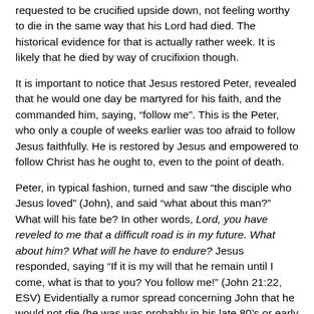requested to be crucified upside down, not feeling worthy to die in the same way that his Lord had died. The historical evidence for that is actually rather week. It is likely that he died by way of crucifixion though.
It is important to notice that Jesus restored Peter, revealed that he would one day be martyred for his faith, and the commanded him, saying, “follow me”. This is the Peter, who only a couple of weeks earlier was too afraid to follow Jesus faithfully. He is restored by Jesus and empowered to follow Christ has he ought to, even to the point of death.
Peter, in typical fashion, turned and saw “the disciple who Jesus loved” (John), and said “what about this man?” What will his fate be? In other words, Lord, you have reveled to me that a difficult road is in my future. What about him? What will he have to endure? Jesus responded, saying “If it is my will that he remain until I come, what is that to you? You follow me!” (John 21:22, ESV) Evidentially a rumor spread concerning John that he would not die (he was was probably in his late 80’s or early 90’s when he wrote). But that is not what Jesus said, only “If it is my will that he remain until I come, what is that to you?” (John 21:23, ESV)
The will of God is different for everyone. Some live short lives.